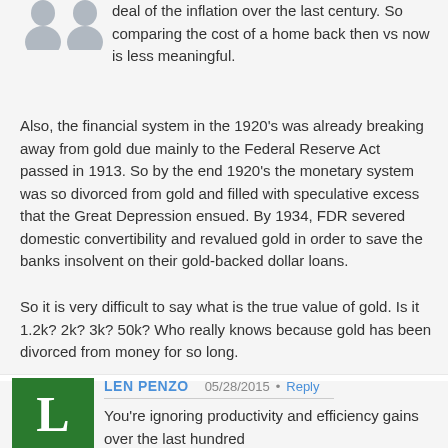deal of the inflation over the last century. So comparing the cost of a home back then vs now is less meaningful.
Also, the financial system in the 1920's was already breaking away from gold due mainly to the Federal Reserve Act passed in 1913. So by the end 1920's the monetary system was so divorced from gold and filled with speculative excess that the Great Depression ensued. By 1934, FDR severed domestic convertibility and revalued gold in order to save the banks insolvent on their gold-backed dollar loans.
So it is very difficult to say what is the true value of gold. Is it 1.2k? 2k? 3k? 50k? Who really knows because gold has been divorced from money for so long.
[Figure (illustration): Green square avatar with white letter L for user Len Penzo]
LEN PENZO   05/28/2015 • Reply
You're ignoring productivity and efficiency gains over the last hundred